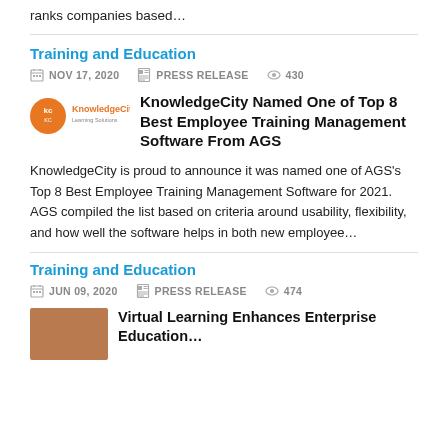ranks companies based…
Training and Education
NOV 17, 2020   PRESS RELEASE   430
KnowledgeCity Named One of Top 8 Best Employee Training Management Software From AGS
KnowledgeCity is proud to announce it was named one of AGS's Top 8 Best Employee Training Management Software for 2021. AGS compiled the list based on criteria around usability, flexibility, and how well the software helps in both new employee…
Training and Education
JUN 09, 2020   PRESS RELEASE   474